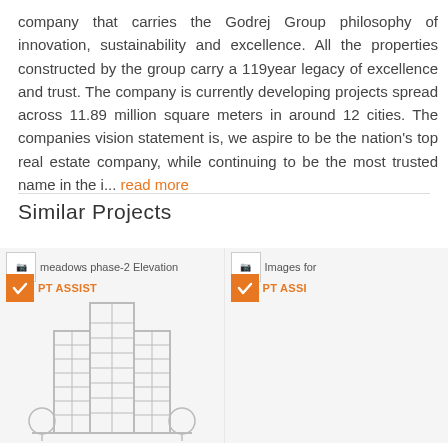company that carries the Godrej Group philosophy of innovation, sustainability and excellence. All the properties constructed by the group carry a 119year legacy of excellence and trust. The company is currently developing projects spread across 11.89 million square meters in around 12 cities. The companies vision statement is, we aspire to be the nation's top real estate company, while continuing to be the most trusted name in the i... read more
Similar Projects
[Figure (screenshot): Card showing 'meadows phase-2 Elevation' with an orange PT ASSIST badge and a building illustration (skyscraper with trees)]
[Figure (screenshot): Partially visible card showing 'Images for' with an orange PT ASSIST badge, cropped at right edge]